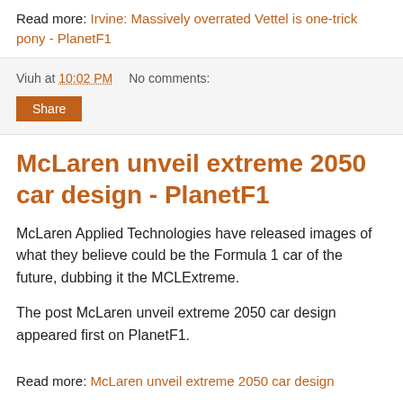Read more: Irvine: Massively overrated Vettel is one-trick pony - PlanetF1
Viuh at 10:02 PM   No comments:
Share
McLaren unveil extreme 2050 car design - PlanetF1
McLaren Applied Technologies have released images of what they believe could be the Formula 1 car of the future, dubbing it the MCLExtreme.
The post McLaren unveil extreme 2050 car design appeared first on PlanetF1.
Read more: McLaren unveil extreme 2050 car design